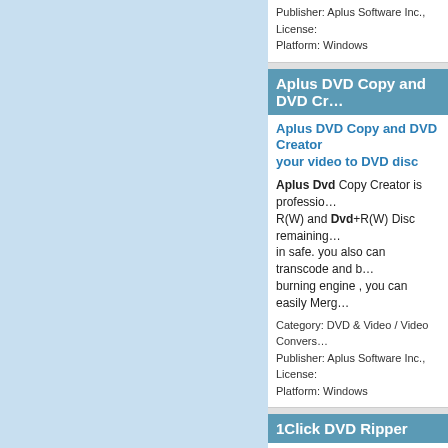Publisher: Aplus Software Inc., License: Platform: Windows
Aplus DVD Copy and DVD Cr…
Aplus DVD Copy and DVD Creator your video to DVD disc
Aplus Dvd Copy Creator is professional… Dvd+R(W) Disc remaining… in safe. you also can transcode and burning engine , you can easily Merg…
Category: DVD & Video / Video Convers… Publisher: Aplus Software Inc., License: Platform: Windows
1Click DVD Ripper
1Click DVD Ripper copy and rip DV… to Mpeg and Burn them to CD. 1Cl… Ripper,DVD to SVCD Ripper,DVD t…
1Click Dvd Ripper rip Dvd to AVI DI… Burn them to CD. 1Click Dvd Ripper can rip Dvd to VCD/SVCD/DIVX AVI Dvd or make backup...
Category: DVD & Video / Multimedia Pla… Publisher: 1ClickDVDRipper Inc, Licens… Platform: Windows